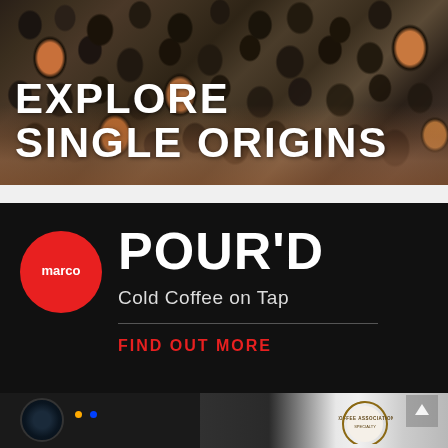[Figure (photo): Hands holding dark roasted coffee beans, viewed from above. White bold text overlay reads 'EXPLORE SINGLE ORIGINS'.]
[Figure (logo): Marco POUR'D Cold Coffee on Tap advertisement. Red circle logo with 'marco' text on black background. Large white text 'POUR'D', subtitle 'Cold Coffee on Tap', red uppercase text 'FIND OUT MORE'.]
[Figure (photo): Partial bottom strip showing what appears to be a camera or coffee equipment on dark background, with a specialty coffee association watermark badge partially visible at bottom right.]